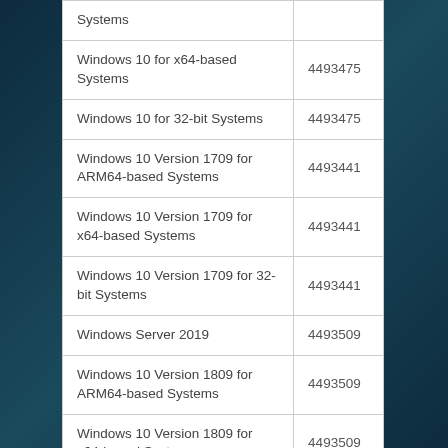| Operating System | KB Article |
| --- | --- |
| Systems |  |
| Windows 10 for x64-based Systems | 4493475 |
| Windows 10 for 32-bit Systems | 4493475 |
| Windows 10 Version 1709 for ARM64-based Systems | 4493441 |
| Windows 10 Version 1709 for x64-based Systems | 4493441 |
| Windows 10 Version 1709 for 32-bit Systems | 4493441 |
| Windows Server 2019 | 4493509 |
| Windows 10 Version 1809 for ARM64-based Systems | 4493509 |
| Windows 10 Version 1809 for x64-based Systems | 4493509 |
| Windows 10 Version 1809 for 32-bit Systems | 4493509 |